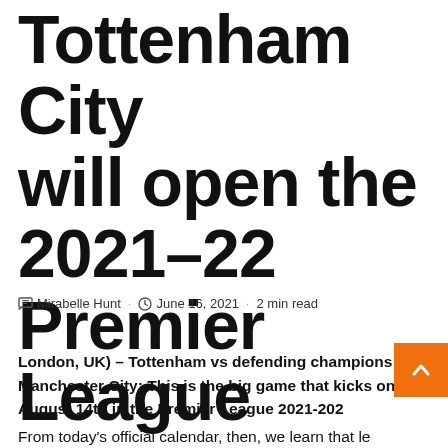Tottenham City will open the 2021-22 Premier League
Mirabelle Hunt · June 16, 2021 · 2 min read
London, UK) – Tottenham vs defending champions Manchester City: This is the big game that kicks on August 14th in the Premier League 2021-2022. From today's official calendar, then, we learn that le …